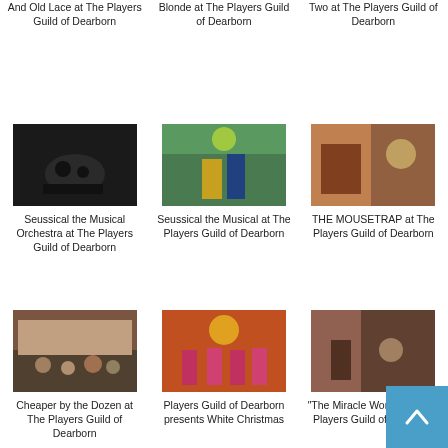And Old Lace at The Players Guild of Dearborn
Blonde at The Players Guild of Dearborn
Two at The Players Guild of Dearborn
[Figure (photo): Dark theater scene, Seussical the Musical Orchestra]
Seussical the Musical Orchestra at The Players Guild of Dearborn
[Figure (photo): Colorful theater scene, Seussical the Musical]
Seussical the Musical at The Players Guild of Dearborn
[Figure (photo): Warm-toned theater interior scene, THE MOUSETRAP]
THE MOUSETRAP at The Players Guild of Dearborn
[Figure (photo): Stage scene with cast, Cheaper by the Dozen]
Cheaper by the Dozen at The Players Guild of Dearborn
[Figure (photo): Dance scene with dancers in pink dresses, White Christmas]
Players Guild of Dearborn presents White Christmas
[Figure (photo): Interior theater scene, The Miracle Worker]
"The Miracle Worker" at The Players Guild of Dearborn